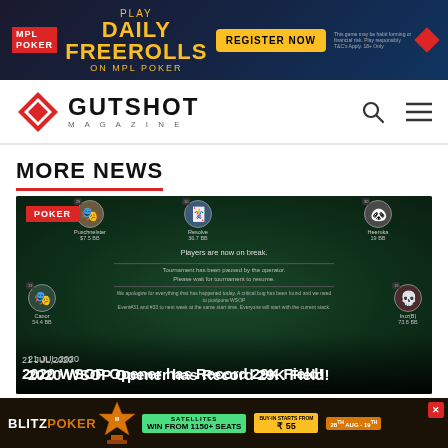[Figure (infographic): MPL Poker advertisement banner: PLAY DAILY FREEROLLS ON MPL POKER with REGISTER NOW button]
GUTSHOT MAGAZINE
MORE NEWS
[Figure (screenshot): Online poker table screenshot showing players on break. Message: Players are now on break. Tournament has been paused by the operator. Please wait for tournament to resume. Players visible: Puschnelster $7.5BB, Resolve 36.7BB, Heeruka 19BB, Canor 54.4BB, Iruz(B) 73.8BB]
POKER
21 JUL,2020
2020 WSOP Opener has Record 29K Field!
[Figure (infographic): BlitzPoker Millionaire Series advertisement: SATELLITES WIN FROM 1150+ SEATS, BUY-IN STARTS FROM ₹55, dates 28th Aug - 19th]